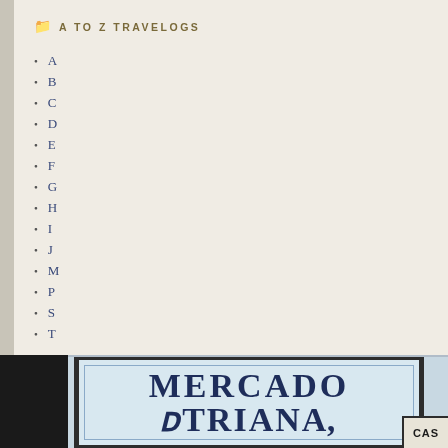A TO Z TRAVELOGS
A
B
C
D
E
F
G
H
I
J
M
P
S
T
[Figure (photo): A photo of the Mercado de Triana market sign — large bold dark blue serif text reading MERCADO DE TRIANA on a light blue tiled background with decorative border, flanked by cables on the left and a CAS label box on the right.]